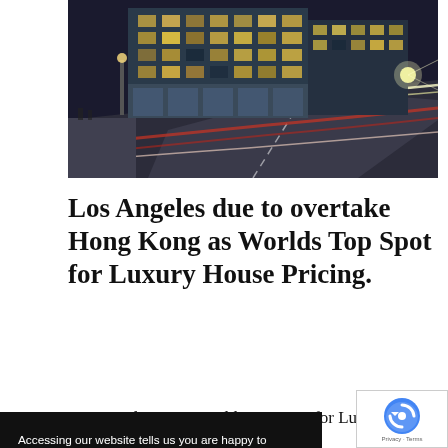[Figure (photo): Photograph of a modern apartment building at night with light trails on the road and illuminated building facades]
Los Angeles due to overtake Hong Kong as Worlds Top Spot for Luxury House Pricing.
Los Angeles Wins Worlds Top Spot for Luxury House
Accessing our website tells us you are happy to receive all our cookies. However you can change your cookie settings at any time. Find out more  Privacy Policy
Accept